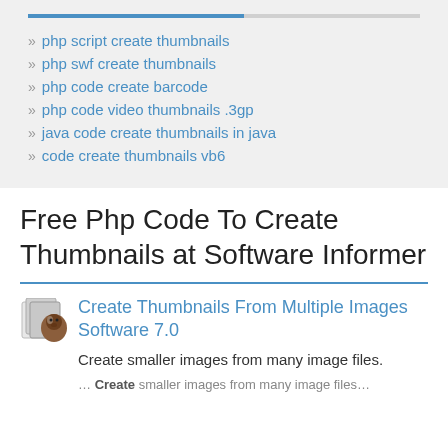» php script create thumbnails
» php swf create thumbnails
» php code create barcode
» php code video thumbnails .3gp
» java code create thumbnails in java
» code create thumbnails vb6
Free Php Code To Create Thumbnails at Software Informer
Create Thumbnails From Multiple Images Software 7.0
Create smaller images from many image files.
... Create smaller images from many image files...